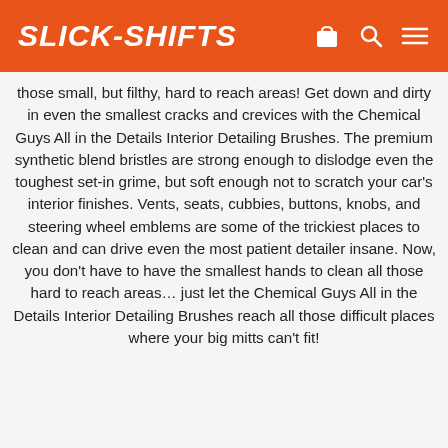SLICK-SHIFTS
those small, but filthy, hard to reach areas! Get down and dirty in even the smallest cracks and crevices with the Chemical Guys All in the Details Interior Detailing Brushes. The premium synthetic blend bristles are strong enough to dislodge even the toughest set-in grime, but soft enough not to scratch your car's interior finishes. Vents, seats, cubbies, buttons, knobs, and steering wheel emblems are some of the trickiest places to clean and can drive even the most patient detailer insane. Now, you don't have to have the smallest hands to clean all those hard to reach areas… just let the Chemical Guys All in the Details Interior Detailing Brushes reach all those difficult places where your big mitts can't fit!